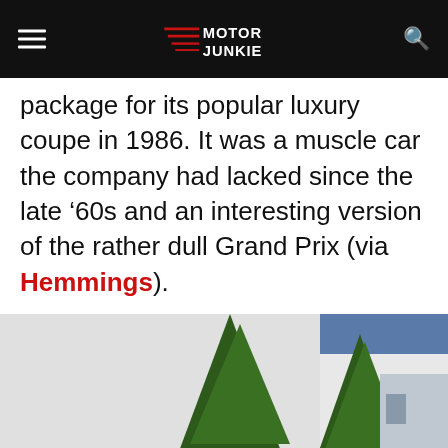Motor Junkie
package for its popular luxury coupe in 1986. It was a muscle car the company had lacked since the late ’60s and an interesting version of the rather dull Grand Prix (via Hemmings).
[Figure (photo): Photo of two conical green evergreen trees in front of a building exterior with white and blue walls]
Advertisement
[Figure (screenshot): Ad banner for BitLife - Life Simulator showing red background with game imagery and Install button]